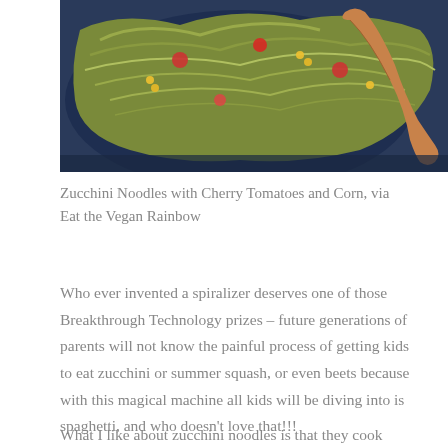[Figure (photo): A plate of zucchini noodles with cherry tomatoes and corn, with a wooden spoon, photographed from above on a blue background.]
Zucchini Noodles with Cherry Tomatoes and Corn, via Eat the Vegan Rainbow
Who ever invented a spiralizer deserves one of those Breakthrough Technology prizes – future generations of parents will not know the painful process of getting kids to eat zucchini or summer squash, or even beets because with this magical machine all kids will be diving into is spaghetti, and who doesn't love that!!!
What I like about zucchini noodles is that they cook